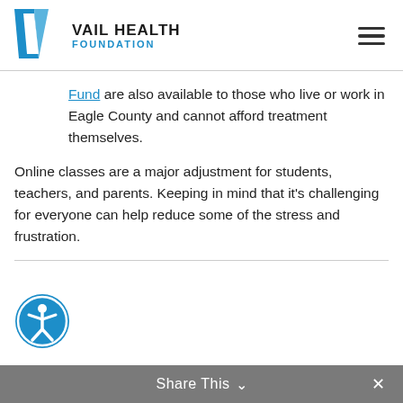VAIL HEALTH FOUNDATION
Fund are also available to those who live or work in Eagle County and cannot afford treatment themselves.
Online classes are a major adjustment for students, teachers, and parents. Keeping in mind that it's challenging for everyone can help reduce some of the stress and frustration.
Share This